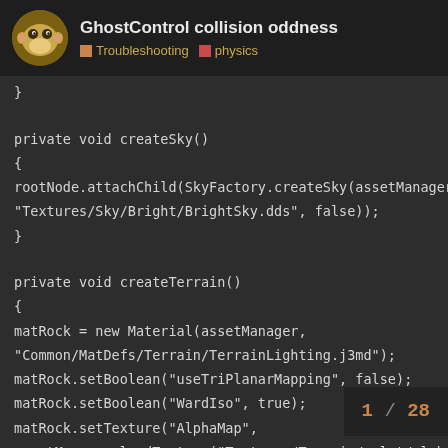GhostControl collision oddness
Troubleshooting  physics
}

private void createSky()
{
rootNode.attachChild(SkyFactory.createSky(assetManager, "Textures/Sky/Bright/BrightSky.dds", false));
}

private void createTerrain()
{
matRock = new Material(assetManager, "Common/MatDefs/Terrain/TerrainLighting.j3md");
matRock.setBoolean("useTriPlanarMapping", false);
matRock.setBoolean("WardIso", true);
matRock.setTexture("AlphaMap", assetManager.loadTexture("Textures/Terrain/splat/alphamap.png"));
Texture heightMapImage = assetManager.loadTexture("Textures/Terra
1 / 28